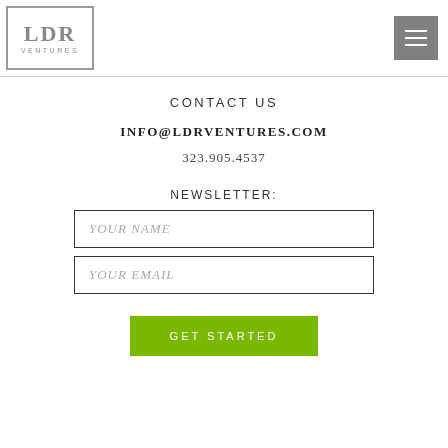[Figure (logo): LDR Ventures logo with grey border box, 'LDR' in large grey serif letters and 'VENTURES' in small spaced uppercase beneath]
[Figure (other): Grey hamburger menu button (three white horizontal lines on grey square background)]
CONTACT US
INFO@LDRVENTURES.COM
323.905.4537
NEWSLETTER:
YOUR NAME
YOUR EMAIL
GET STARTED